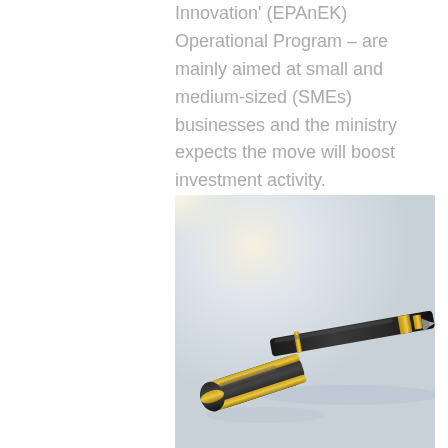Innovation' (EPAnEK) Operational Program – are mainly aimed at small and medium-sized (SMEs) businesses and the ministry expects the move will boost investment activity.
[Figure (photo): Close-up photo of a luxury black and gold pen resting on a light surface, with its cap nearby. The background is light blue-grey and slightly blurred.]